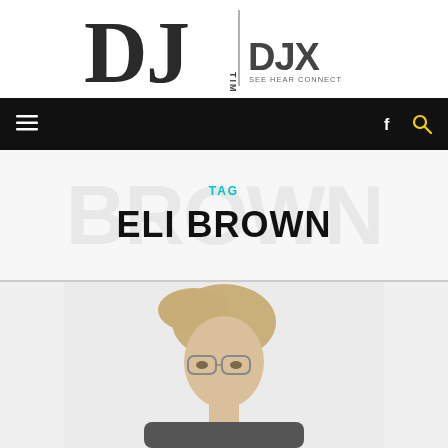[Figure (logo): DJ Times | DJX See Hear Connect logo]
Navigation bar with hamburger menu, Facebook icon, and search icon
TAG
ELI BROWN
[Figure (photo): Photo of Eli Brown, a person with blonde hair wearing glasses, cropped at the bottom of the page]